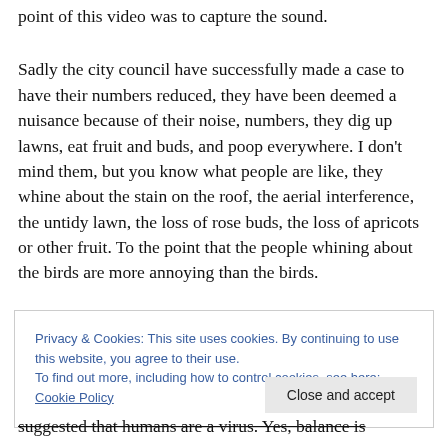point of this video was to capture the sound.
Sadly the city council have successfully made a case to have their numbers reduced, they have been deemed a nuisance because of their noise, numbers, they dig up lawns, eat fruit and buds, and poop everywhere. I don’t mind them, but you know what people are like, they whine about the stain on the roof, the aerial interference, the untidy lawn, the loss of rose buds, the loss of apricots or other fruit. To the point that the people whining about the birds are more annoying than the birds.
Privacy & Cookies: This site uses cookies. By continuing to use this website, you agree to their use.
To find out more, including how to control cookies, see here: Cookie Policy
Close and accept
suggested that humans are a virus. Yes, balance is